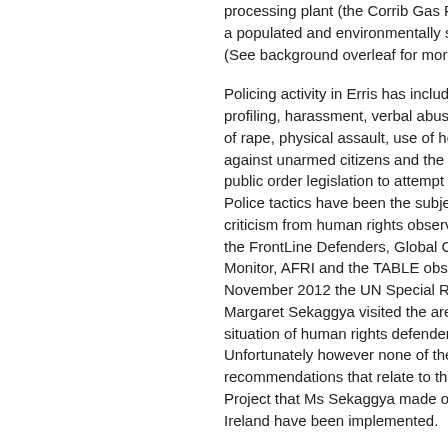processing plant (the Corrib Gas Pr... a populated and environmentally se... (See background overleaf for more...
Policing activity in Erris has included profiling, harassment, verbal abuse of rape, physical assault, use of hea against unarmed citizens and the m public order legislation to attempt to Police tactics have been the subjec criticism from human rights observe the FrontLine Defenders, Global Co Monitor, AFRI and the TABLE obse November 2012 the UN Special Ra Margaret Sekaggya visited the area situation of human rights defenders. Unfortunately however none of the recommendations that relate to the Project that Ms Sekaggya made on Ireland have been implemented.
It is noteworthy that in the time sinc visit many of the issues identified by to policing in Erris and the police (G ombudsman have emerged again in series of controversies that involve...